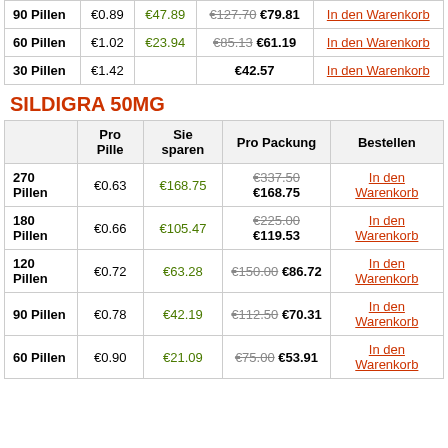|  | Pro Pille | Sie sparen | Pro Packung | Bestellen |
| --- | --- | --- | --- | --- |
| 90 Pillen | €0.89 | €47.89 | €127.70 €79.81 | In den Warenkorb |
| 60 Pillen | €1.02 | €23.94 | €85.13 €61.19 | In den Warenkorb |
| 30 Pillen | €1.42 |  | €42.57 | In den Warenkorb |
SILDIGRA 50MG
|  | Pro Pille | Sie sparen | Pro Packung | Bestellen |
| --- | --- | --- | --- | --- |
| 270 Pillen | €0.63 | €168.75 | €337.50 €168.75 | In den Warenkorb |
| 180 Pillen | €0.66 | €105.47 | €225.00 €119.53 | In den Warenkorb |
| 120 Pillen | €0.72 | €63.28 | €150.00 €86.72 | In den Warenkorb |
| 90 Pillen | €0.78 | €42.19 | €112.50 €70.31 | In den Warenkorb |
| 60 Pillen | €0.90 | €21.09 | €75.00 €53.91 | In den Warenkorb |